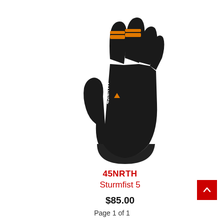[Figure (photo): Black winter cycling glove with orange accent stripes on fingers and 45NRTH logo in white on the back of the hand]
45NRTH
Sturmfist 5
$85.00
Page 1 of 1